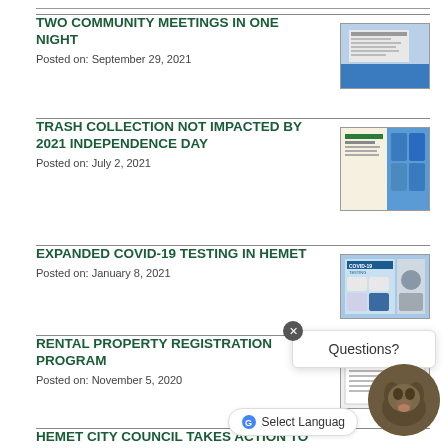TWO COMMUNITY MEETINGS IN ONE NIGHT
Posted on: September 29, 2021
TRASH COLLECTION NOT IMPACTED BY 2021 INDEPENDENCE DAY
Posted on: July 2, 2021
EXPANDED COVID-19 TESTING IN HEMET
Posted on: January 8, 2021
RENTAL PROPERTY REGISTRATION PROGRAM
Posted on: November 5, 2020
HEMET CITY COUNCIL TAKES ACTION TO BRING SKATE PARK TO